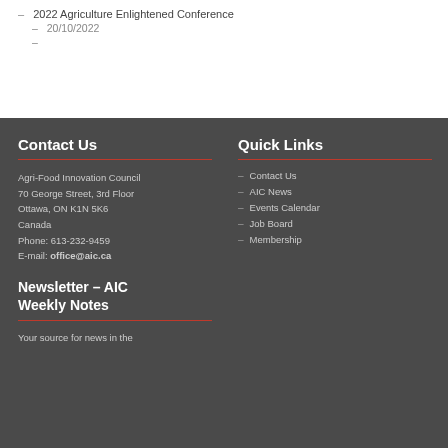– 2022 Agriculture Enlightened Conference
– 20/10/2022
–
Contact Us
Agri-Food Innovation Council
70 George Street, 3rd Floor
Ottawa, ON K1N 5K6
Canada
Phone: 613-232-9459
E-mail: office@aic.ca
Newsletter – AIC Weekly Notes
Your source for news in the
Quick Links
Contact Us
AIC News
Events Calendar
Job Board
Membership